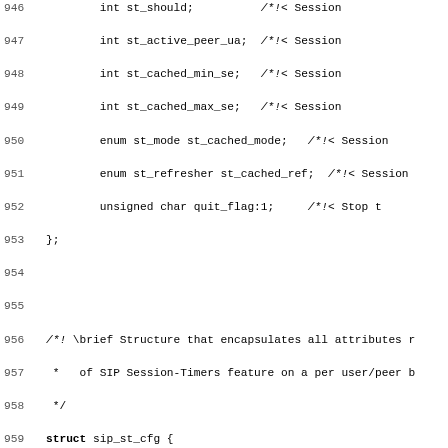[Figure (screenshot): Source code listing showing C struct definitions for SIP session timers (sip_st_pvt, sip_st_cfg) and offered_media and sip_msg_hdr structs, with line numbers 946-978 visible.]